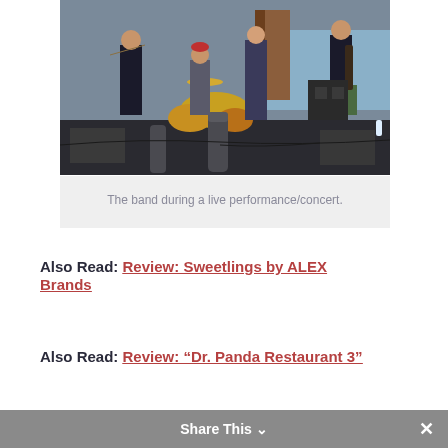[Figure (photo): A band performing live on stage near the waterfront. Musicians include a violinist, drummer, bassist, and guitarist. The guitarist wears a kilt. Stage monitors and equipment are visible in the foreground.]
The band during a live performance/concert.
Also Read: Review: Sweetlings by ALEX Brands
Also Read: Review: “Dr. Panda Restaurant 3”
Also Read: All About “Scribfolio”
Share This